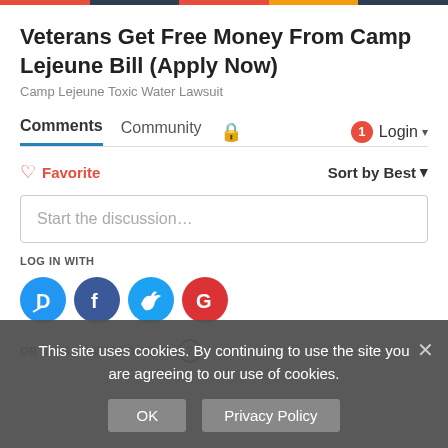Veterans Get Free Money From Camp Lejeune Bill (Apply Now)
Camp Lejeune Toxic Water Lawsuit
Comments   Community   🔒   1   Login
♡ Favorite   Sort by Best
Start the discussion…
LOG IN WITH
[Figure (infographic): Four social login icons: Disqus (D, blue), Facebook (f, dark blue), Twitter (bird, light blue), Google (G, red)]
OR SIGN UP WITH DISQUS ?
This site uses cookies. By continuing to use the site you are agreeing to our use of cookies.
OK   Privacy Policy